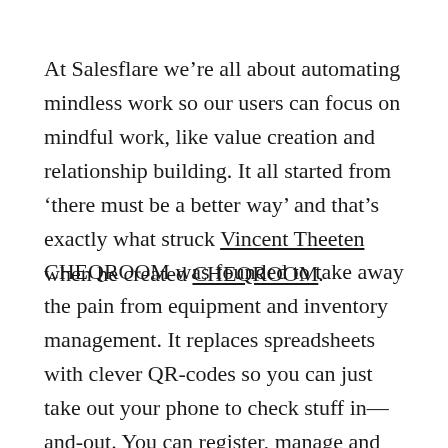At Salesflare we're all about automating mindless work so our users can focus on mindful work, like value creation and relationship building. It all started from 'there must be a better way' and that's exactly what struck Vincent Theeten when he created CHEQROOM.
CHEQROOM was founded to take away the pain from equipment and inventory management. It replaces spreadsheets with clever QR-codes so you can just take out your phone to check stuff in—and-out. You can register, manage and track your